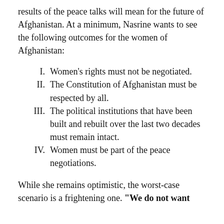results of the peace talks will mean for the future of Afghanistan. At a minimum, Nasrine wants to see the following outcomes for the women of Afghanistan:
I. Women's rights must not be negotiated.
II. The Constitution of Afghanistan must be respected by all.
III. The political institutions that have been built and rebuilt over the last two decades must remain intact.
IV. Women must be part of the peace negotiations.
While she remains optimistic, the worst-case scenario is a frightening one. "We do not want